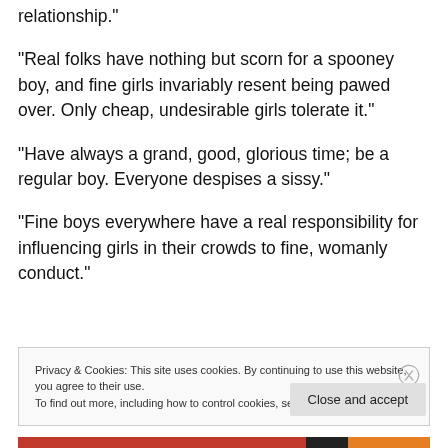relationship.”
“Real folks have nothing but scorn for a spooney boy, and fine girls invariably resent being pawed over. Only cheap, undesirable girls tolerate it.”
“Have always a grand, good, glorious time; be a regular boy. Everyone despises a sissy.”
“Fine boys everywhere have a real responsibility for influencing girls in their crowds to fine, womanly conduct.”
Privacy & Cookies: This site uses cookies. By continuing to use this website, you agree to their use.
To find out more, including how to control cookies, see here: Cookie Policy